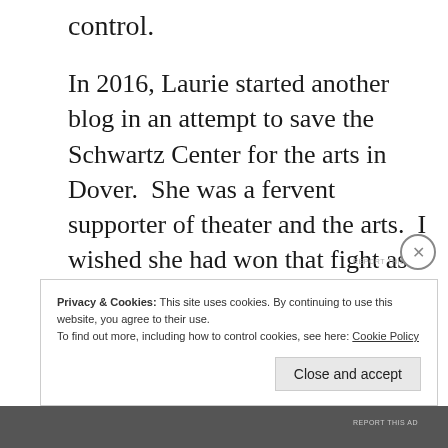control.
In 2016, Laurie started another blog in an attempt to save the Schwartz Center for the arts in Dover.  She was a fervent supporter of theater and the arts.  I wished she had won that fight as well.
REPORT THIS AD
Privacy & Cookies: This site uses cookies. By continuing to use this website, you agree to their use.
To find out more, including how to control cookies, see here: Cookie Policy
Close and accept